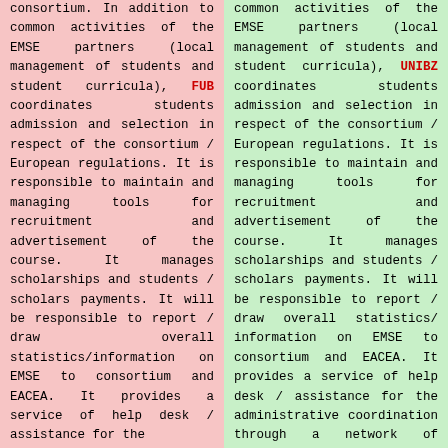consortium. In addition to common activities of the EMSE partners (local management of students and student curricula), FUB coordinates students admission and selection in respect of the consortium / European regulations. It is responsible to maintain and managing tools for recruitment and advertisement of the course. It manages scholarships and students / scholars payments. It will be responsible to report / draw overall statistics/information on EMSE to consortium and EACEA. It provides a service of help desk / assistance for the
common activities of the EMSE partners (local management of students and student curricula), UNIBZ coordinates students admission and selection in respect of the consortium / European regulations. It is responsible to maintain and managing tools for recruitment and advertisement of the course. It manages scholarships and students / scholars payments. It will be responsible to report / draw overall statistics/ information on EMSE to consortium and EACEA. It provides a service of help desk / assistance for the administrative coordination through a network of offices. It will be the reference